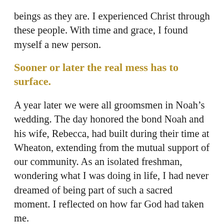beings as they are. I experienced Christ through these people. With time and grace, I found myself a new person.
Sooner or later the real mess has to surface.
A year later we were all groomsmen in Noah’s wedding. The day honored the bond Noah and his wife, Rebecca, had built during their time at Wheaton, extending from the mutual support of our community. As an isolated freshman, wondering what I was doing in life, I had never dreamed of being part of such a sacred moment. I reflected on how far God had taken me.
Our little band of brethren reminded each other of a